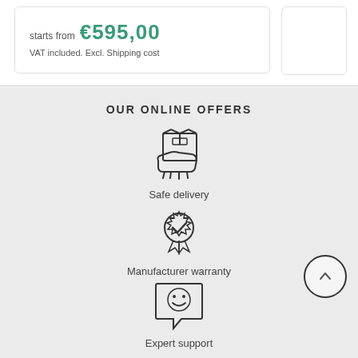starts from €595,00
VAT included. Excl. Shipping cost
OUR ONLINE OFFERS
[Figure (illustration): Icon of a hand holding a delivery box]
Safe delivery
[Figure (illustration): Icon of a badge/medal with a checkmark]
Manufacturer warranty
[Figure (illustration): Icon of a chat bubble with a smiley face]
Expert support